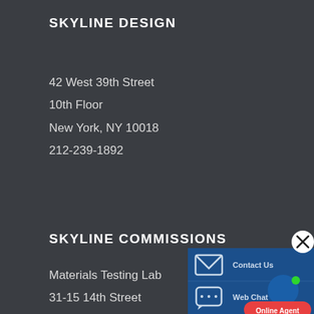SKYLINE DESIGN
42 West 39th Street
10th Floor
New York, NY 10018
212-239-1892
SKYLINE COMMISSIONS
Materials Testing Lab
31-15 14th Street
Long Island City, NY
718-545-0432
[Figure (infographic): A dark blue overlay popup panel with two rows: 'Contact Us' with envelope icon and 'Web Chat' with speech bubble icon. A close (X) button in a white circle is in the upper right. A blue circle avatar with green dot and red 'Online Agent' button appear at bottom right.]